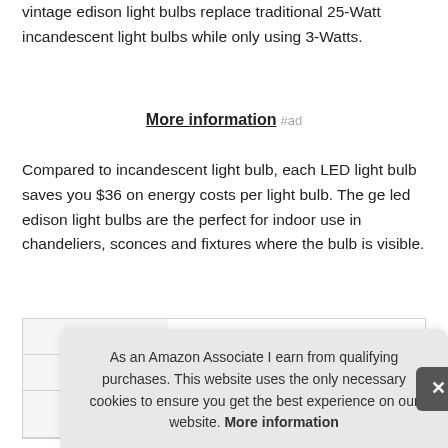vintage edison light bulbs replace traditional 25-Watt incandescent light bulbs while only using 3-Watts.
More information #ad
Compared to incandescent light bulb, each LED light bulb saves you $36 on energy costs per light bulb. The ge led edison light bulbs are the perfect for indoor use in chandeliers, sconces and fixtures where the bulb is visible.
|  |  |
| --- | --- |
| Brand | GE Lighting #ad |
| Manufacturer | GE Lighting #ad |
As an Amazon Associate I earn from qualifying purchases. This website uses the only necessary cookies to ensure you get the best experience on our website. More information